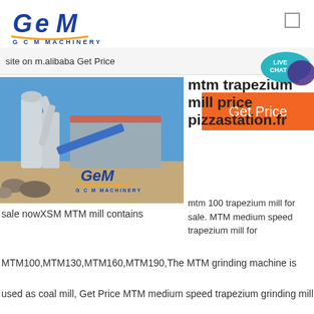[Figure (logo): GCM Machinery logo with blue GEM lettering and orange underline, text G C M MACHINERY below]
site on m.alibaba Get Price
[Figure (infographic): Live Chat speech bubble icon in teal/blue with white text LIVE CHAT]
[Figure (infographic): Orange Get Price button]
[Figure (photo): Industrial MTM trapezium grinding mill machinery outdoor installation with GCM Machinery logo overlay]
mtm trapezium mill price pizzastation.fr
mtm 100 trapezium mill for sale. MTM medium speed trapezium mill for sale nowXSM MTM mill contains MTM100,MTM130,MTM160,MTM190,The MTM grinding machine is used as coal mill, Get Price MTM medium speed trapezium grinding mill